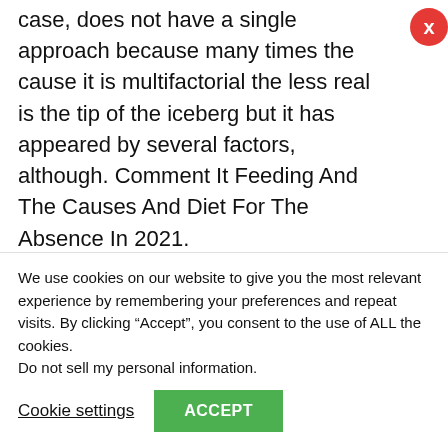case, does not have a single approach because many times the cause it is multifactorial the less real is the tip of the iceberg but it has appeared by several factors, although. Comment It Feeding And The Causes And Diet For The Absence In 2021.
It does seem that the most relevant is a low energy intake and especially the carbohydrate deficit contrary to what It has been thought for a
We use cookies on our website to give you the most relevant experience by remembering your preferences and repeat visits. By clicking “Accept”, you consent to the use of ALL the cookies.
Do not sell my personal information.